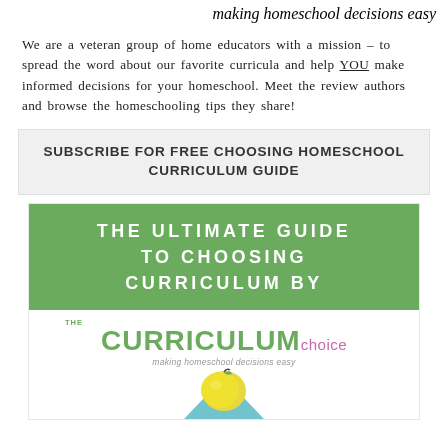making homeschool decisions easy
We are a veteran group of home educators with a mission – to spread the word about our favorite curricula and help YOU make informed decisions for your homeschool. Meet the review authors and browse the homeschooling tips they share!
SUBSCRIBE FOR FREE CHOOSING HOMESCHOOL CURRICULUM GUIDE
[Figure (illustration): Book cover with green banner reading THE ULTIMATE GUIDE TO CHOOSING CURRICULUM BY, below which is The Curriculum Choice logo with a yellow apple illustration.]